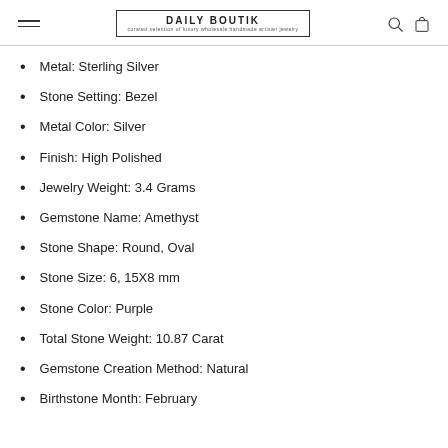DAILY BOUTIK
Metal: Sterling Silver
Stone Setting: Bezel
Metal Color: Silver
Finish: High Polished
Jewelry Weight: 3.4 Grams
Gemstone Name: Amethyst
Stone Shape: Round, Oval
Stone Size: 6, 15X8 mm
Stone Color: Purple
Total Stone Weight: 10.87 Carat
Gemstone Creation Method: Natural
Birthstone Month: February